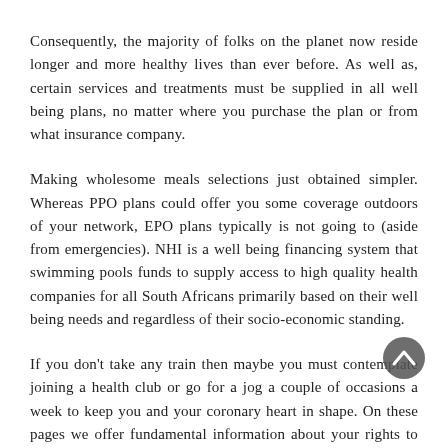Consequently, the majority of folks on the planet now reside longer and more healthy lives than ever before. As well as, certain services and treatments must be supplied in all well being plans, no matter where you purchase the plan or from what insurance company.
Making wholesome meals selections just obtained simpler. Whereas PPO plans could offer you some coverage outdoors of your network, EPO plans typically is not going to (aside from emergencies). NHI is a well being financing system that swimming pools funds to supply access to high quality health companies for all South Africans primarily based on their well being needs and regardless of their socio-economic standing.
If you don't take any train then maybe you must contemplate joining a health club or go for a jog a couple of occasions a week to keep you and your coronary heart in shape. On these pages we offer fundamental information about your rights to health care, the NHS complaints procedure, how a lot health care prices and we direct you to other specialist businesses...